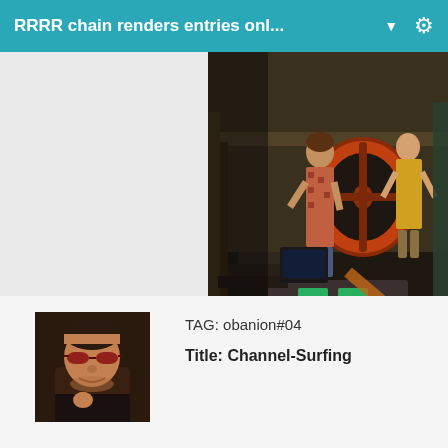RRRR chain renders entries onl... ▼
[Figure (screenshot): A dark 3D rendered scene showing characters in a dungeon-like environment with industrial elements, orange circular machinery, and green glowing controls on a platform]
[Figure (photo): Portrait photo of a middle-aged man wearing red-tinted sunglasses]
TAG: obanion#04
Title: Channel-Surfing